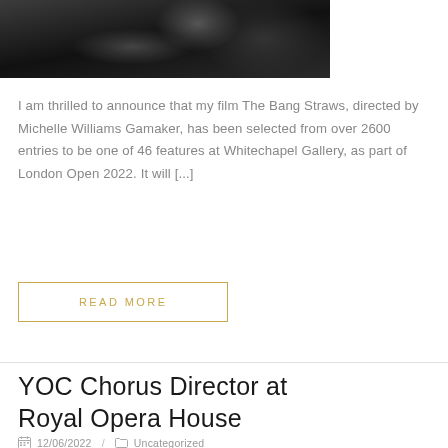[Figure (photo): Dark black and white photograph, partially visible at the top of the page, showing a dramatic smoky or shadowy scene.]
I am thrilled to announce that my film The Bang Straws, directed by Michelle Williams Gamaker, has been selected from over 2600 entries to be one of 46 features at Whitechapel Gallery, as part of London Open 2022. It will [...]
READ MORE
YOC Chorus Director at Royal Opera House
12/06/2022 / Uncategorized